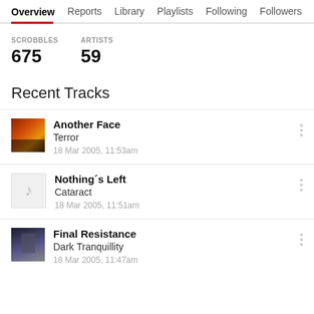Overview  Reports  Library  Playlists  Following  Followers
SCROBBLES 675  ARTISTS 59
Recent Tracks
Another Face — Terror — 18 Mar 2005, 11:53am
Nothing's Left — Cataract — 18 Mar 2005, 11:51am
Final Resistance — Dark Tranquillity — 18 Mar 2005, 11:47am